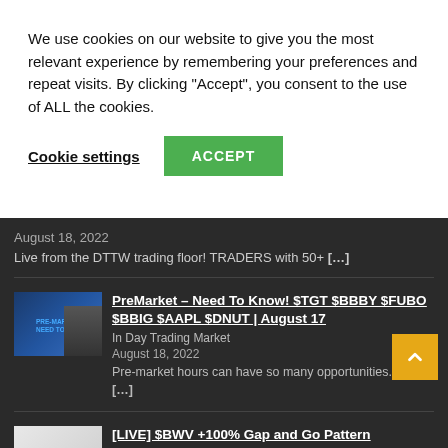We use cookies on our website to give you the most relevant experience by remembering your preferences and repeat visits. By clicking “Accept”, you consent to the use of ALL the cookies.
Cookie settings
ACCEPT
August 18, 2022
Live from the DTTW trading floor! TRADERS with 50+ […]
[Figure (screenshot): Thumbnail image for PreMarket video post showing a man in suit with PRE-MARK NEED TO KNO text overlay on blue background]
PreMarket – Need To Know! $TGT $BBBY $FUBO $BBIG $AAPL $DNUT | August 17
In Day Trading Market
August 18, 2022
Pre-market hours can have so many opportunities. This […]
[Figure (screenshot): Thumbnail image for LIVE BWV Gap and Go Pattern video post with light background]
[LIVE] $BWV +100% Gap and Go Pattern